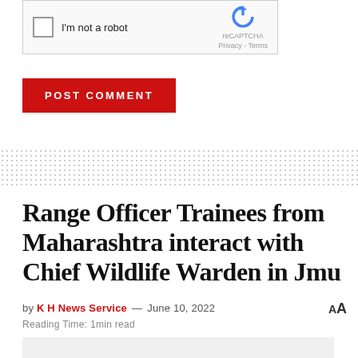[Figure (other): reCAPTCHA widget with checkbox 'I'm not a robot' and reCAPTCHA logo with Privacy and Terms links]
POST COMMENT
[Figure (other): Dotted/stippled horizontal separator band]
Range Officer Trainees from Maharashtra interact with Chief Wildlife Warden in Jmu
by K H News Service — June 10, 2022
Reading Time: 1min read
[Figure (photo): Partial image at the bottom of the page (light gray background visible)]